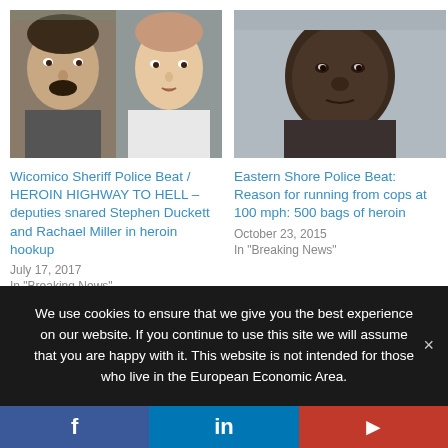[Figure (photo): Mugshot photos of two individuals, male and female, related to Wicomico Sheriff Police Beat heroin arrest story]
Wicomico Sheriff Police Beat / HEROIN HIGHWAY TO HELL – deputies snared Stephen Duckett and Rachael Miller in heroin hookup
July 17, 2017
In "Breaking News"
[Figure (photo): Mugshot photo of individual related to Eastern Shore Police Beat heroin story]
Eastern Shore Police Beat: Reason for running from cops at 100 mph: 500 bags of heroin
October 23, 2015
In "Breaking News"
[Figure (photo): Partial image of drugs or related evidence]
We use cookies to ensure that we give you the best experience on our website. If you continue to use this site we will assume that you are happy with it. This website is not intended for those who live in the European Economic Area.
f  in  P (social share buttons: Facebook, LinkedIn, Parler)